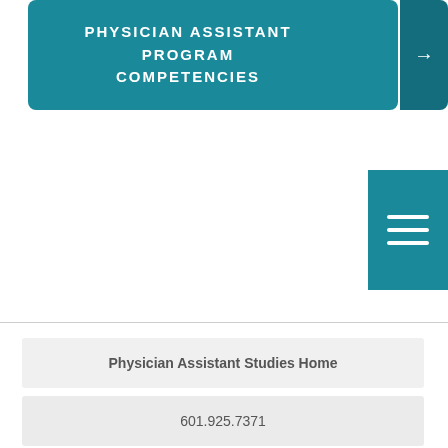PHYSICIAN ASSISTANT PROGRAM COMPETENCIES
Physician Assistant Studies Home
601.925.7371
paprogram@mc.edu
Prospective Students
Undergraduate Admissions
Graduate Admissions